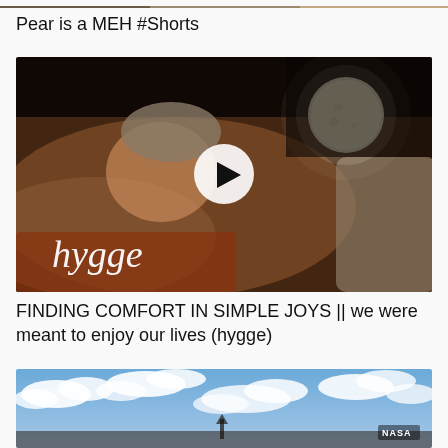[Figure (screenshot): Partial top strip of a video thumbnail showing warm toned scene]
Pear is a MEH #Shorts
[Figure (screenshot): Video thumbnail showing a person sleeping under blankets with a moon in the upper right corner and the word 'hygge' overlaid in cursive script, with a play button in the center]
FINDING COMFORT IN SIMPLE JOYS || we were meant to enjoy our lives (hygge)
[Figure (screenshot): Video thumbnail showing blue sky with clouds and NASA watermark in lower right, with a figure or structure at the bottom center]